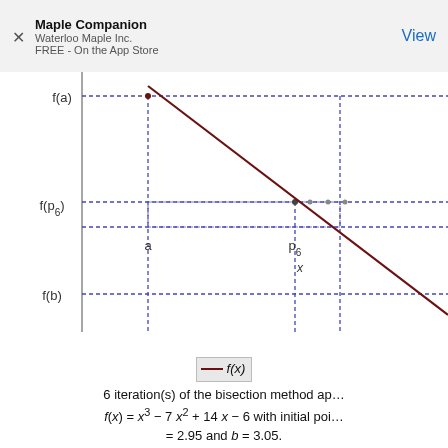Maple Companion
Waterloo Maple Inc.
FREE - On the App Store
View
[Figure (continuous-plot): A bisection method plot showing f(a), f(p6), f(b) on y-axis and points a, p6, x on x-axis. A dark red line descends from upper region through the plot area. Dotted blue lines mark f(a), f(p6), f(b) levels and a, p6, x positions. The function shown is f(x) = x^3 - 7x^2 + 14x - 6 with 6 bisection iterations.]
6 iteration(s) of the bisection method ap… f(x) = x³ − 7 x² + 14 x − 6 with initial poi… = 2.95 and b = 3.05.